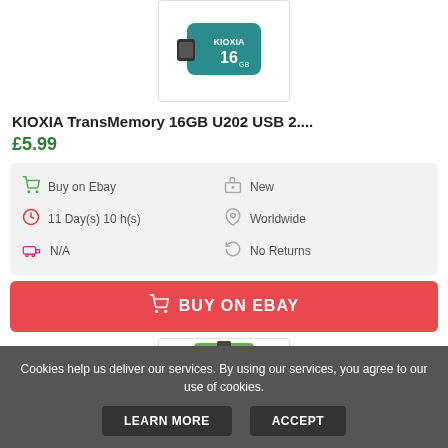[Figure (photo): KIOXIA TransMemory 16GB USB drive in teal color]
KIOXIA TransMemory 16GB U202 USB 2....
£5.99
| Buy on Ebay | New |
| 11 Day(s) 10 h(s) | Worldwide |
| N/A | No Returns |
BUY ON EBAY
[Figure (photo): Second product image partially visible]
Cookies help us deliver our services. By using our services, you agree to our use of cookies.
LEARN MORE   ACCEPT